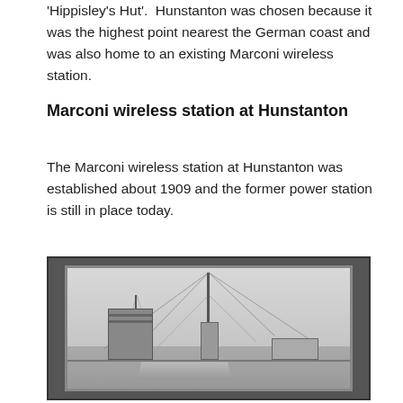'Hippisley's Hut'.  Hunstanton was chosen because it was the highest point nearest the German coast and was also home to an existing Marconi wireless station.
Marconi wireless station at Hunstanton
The Marconi wireless station at Hunstanton was established about 1909 and the former power station is still in place today.
[Figure (photo): Black and white historical photograph of the Marconi wireless station at Hunstanton, showing tall masts with guy wires, a brick tower building on the left, a lighthouse-style structure in the centre, and lower buildings to the right, with a road and fence in the foreground.]